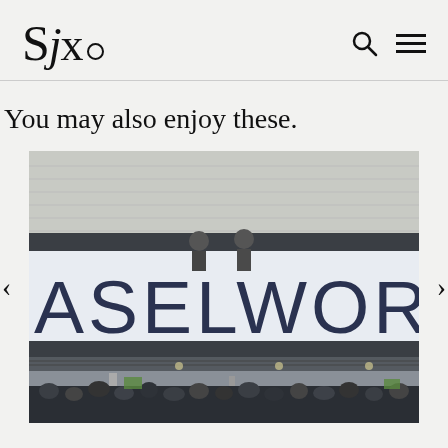SJx.
You may also enjoy these.
[Figure (photo): Baselworld trade show entrance with large LED sign reading 'ASELWORL' (Baselworld), crowds of people below in the atrium, two figures visible on an upper balcony.]